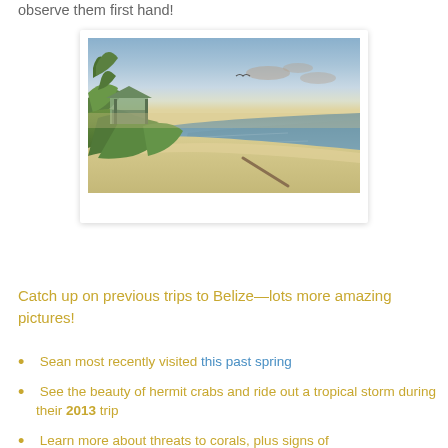observe them first hand!
[Figure (photo): A beach scene at dusk showing a small structure/gazebo on the left with tropical vegetation, a sandy beach curving to the right, calm water, and a bird flying in the sky.]
Catch up on previous trips to Belize—lots more amazing pictures!
Sean most recently visited this past spring
See the beauty of hermit crabs and ride out a tropical storm during their 2013 trip
Learn more about threats to corals, plus signs of